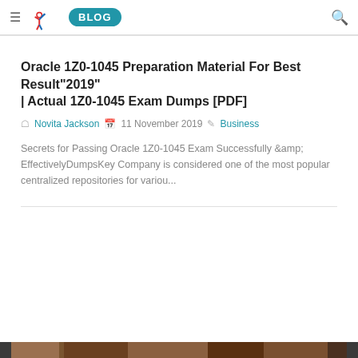≡ [logo] BLOG [search]
Oracle 1Z0-1045 Preparation Material For Best Result"2019" | Actual 1Z0-1045 Exam Dumps [PDF]
Novita Jackson  11 November 2019  Business
Secrets for Passing Oracle 1Z0-1045 Exam Successfully &amp; EffectivelyDumpsKey Company is considered one of the most popular centralized repositories for variou...
[Figure (photo): Partial image visible at the bottom of the page, appears to be a blog post thumbnail image]